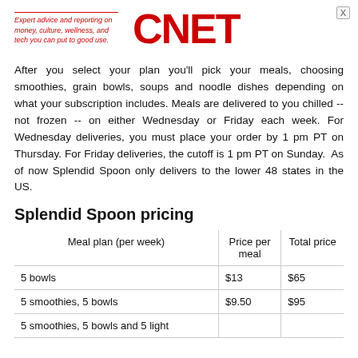[Figure (logo): CNET logo with red text and italic tagline: Expert advice and reporting on money, culture, wellness, and tech you can put to good use.]
After you select your plan you'll pick your meals, choosing smoothies, grain bowls, soups and noodle dishes depending on what your subscription includes. Meals are delivered to you chilled -- not frozen -- on either Wednesday or Friday each week. For Wednesday deliveries, you must place your order by 1 pm PT on Thursday. For Friday deliveries, the cutoff is 1 pm PT on Sunday. As of now Splendid Spoon only delivers to the lower 48 states in the US.
Splendid Spoon pricing
| Meal plan (per week) | Price per meal | Total price |
| --- | --- | --- |
| 5 bowls | $13 | $65 |
| 5 smoothies, 5 bowls | $9.50 | $95 |
| 5 smoothies, 5 bowls and 5 light |  |  |